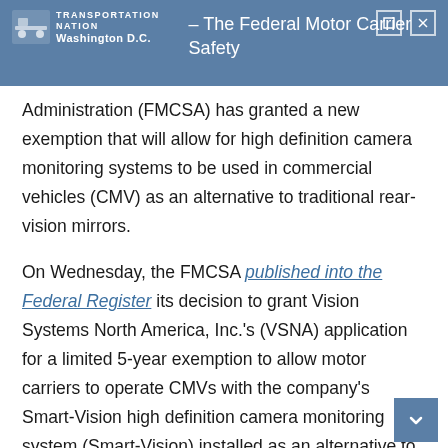TRANSPORTATION NATION Washington D.C.
Washington, D.C. – The Federal Motor Carrier Safety Administration (FMCSA) has granted a new exemption that will allow for high definition camera monitoring systems to be used in commercial vehicles (CMV) as an alternative to traditional rear-vision mirrors.
On Wednesday, the FMCSA published into the Federal Register its decision to grant Vision Systems North America, Inc.'s (VSNA) application for a limited 5-year exemption to allow motor carriers to operate CMVs with the company's Smart-Vision high definition camera monitoring system (Smart-Vision) installed as an alternative to the two rear-vision mirrors required by the Federal Motor Carrier Safety Regulations (FMCSRs).